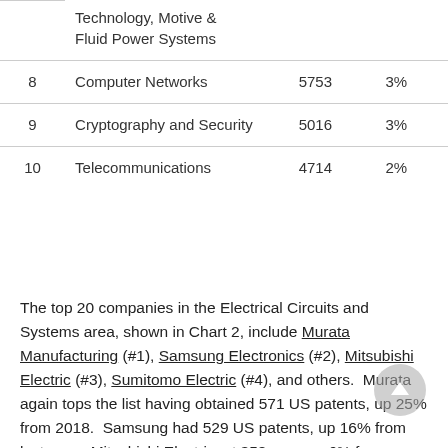| # | Category | Count | % |
| --- | --- | --- | --- |
|  | Technology, Motive & Fluid Power Systems |  |  |
| 8 | Computer Networks | 5753 | 3% |
| 9 | Cryptography and Security | 5016 | 3% |
| 10 | Telecommunications | 4714 | 2% |
The top 20 companies in the Electrical Circuits and Systems area, shown in Chart 2, include Murata Manufacturing (#1), Samsung Electronics (#2), Mitsubishi Electric (#3), Sumitomo Electric (#4), and others.  Murata again tops the list having obtained 571 US patents, up 25% from 2018.  Samsung had 529 US patents, up 16% from last year.  Mitsubishi Electric, at 358, was up 6% from 2018.  The top 20 companies represent a proportion of the